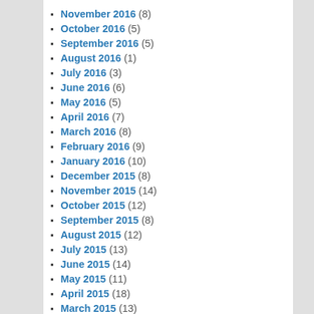November 2016 (8)
October 2016 (5)
September 2016 (5)
August 2016 (1)
July 2016 (3)
June 2016 (6)
May 2016 (5)
April 2016 (7)
March 2016 (8)
February 2016 (9)
January 2016 (10)
December 2015 (8)
November 2015 (14)
October 2015 (12)
September 2015 (8)
August 2015 (12)
July 2015 (13)
June 2015 (14)
May 2015 (11)
April 2015 (18)
March 2015 (13)